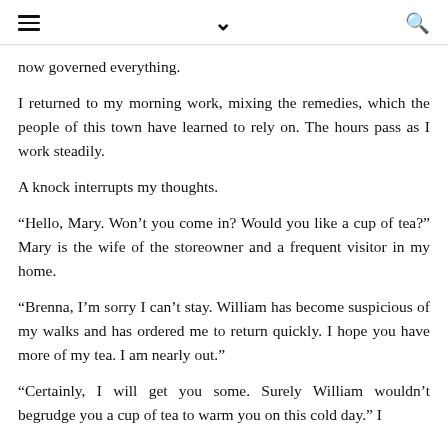≡  ∨  🔍
now governed everything.
I returned to my morning work, mixing the remedies, which the people of this town have learned to rely on. The hours pass as I work steadily.
A knock interrupts my thoughts.
“Hello, Mary. Won’t you come in? Would you like a cup of tea?” Mary is the wife of the storeowner and a frequent visitor in my home.
“Brenna, I’m sorry I can’t stay. William has become suspicious of my walks and has ordered me to return quickly. I hope you have more of my tea. I am nearly out.”
“Certainly, I will get you some. Surely William wouldn’t begrudge you a cup of tea to warm you on this cold day.” I